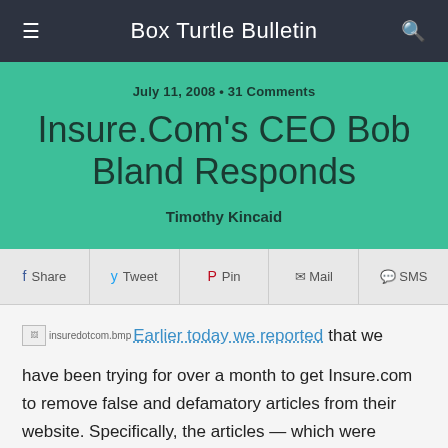Box Turtle Bulletin
July 11, 2008 • 31 Comments
Insure.Com's CEO Bob Bland Responds
Timothy Kincaid
Share  Tweet  Pin  Mail  SMS
[insuredotcom.bmp] Earlier today we reported that we have been trying for over a month to get Insure.com to remove false and defamatory articles from their website. Specifically, the articles — which were written by